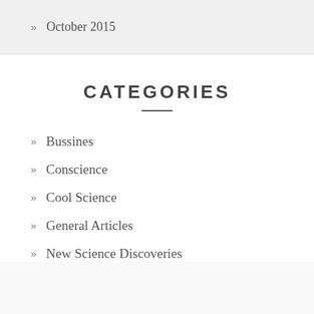October 2015
CATEGORIES
Bussines
Conscience
Cool Science
General Articles
New Science Discoveries